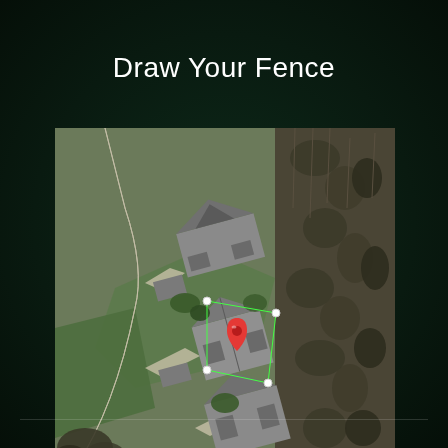Draw Your Fence
[Figure (screenshot): Aerial/satellite map view of a residential neighborhood with houses, driveways, and trees. A green polygon fence outline is drawn around one house in the center, with a red map pin marker placed on the house. The fence boundary is shown as bright green lines connecting white dot markers.]